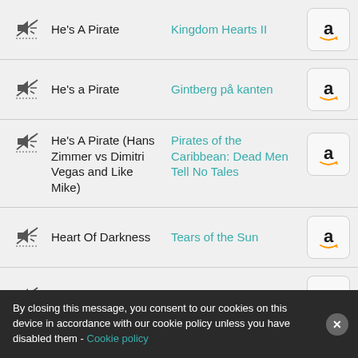He's A Pirate | Kingdom Hearts II
He's a Pirate | Gintberg på kanten
He's A Pirate (Hans Zimmer vs Dimitri Vegas and Like Mike) | Pirates of the Caribbean: Dead Men Tell No Tales
Heart Of Darkness | Tears of the Sun
Herbert | Dune: Part One
Here I Am | Idols
Hoist the Colours | Pirates of the Caribbean: At World's End
By closing this message, you consent to our cookies on this device in accordance with our cookie policy unless you have disabled them - Cookie policy